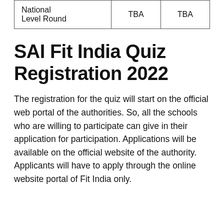| National Level Round | TBA | TBA |
SAI Fit India Quiz Registration 2022
The registration for the quiz will start on the official web portal of the authorities. So, all the schools who are willing to participate can give in their application for participation. Applications will be available on the official website of the authority. Applicants will have to apply through the online website portal of Fit India only.